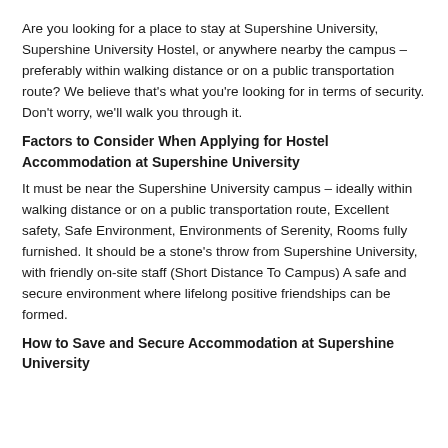Are you looking for a place to stay at Supershine University, Supershine University Hostel, or anywhere nearby the campus – preferably within walking distance or on a public transportation route? We believe that's what you're looking for in terms of security. Don't worry, we'll walk you through it.
Factors to Consider When Applying for Hostel Accommodation at Supershine University
It must be near the Supershine University campus – ideally within walking distance or on a public transportation route, Excellent safety, Safe Environment, Environments of Serenity, Rooms fully furnished. It should be a stone's throw from Supershine University, with friendly on-site staff (Short Distance To Campus) A safe and secure environment where lifelong positive friendships can be formed.
How to Save and Secure Accommodation at Supershine University